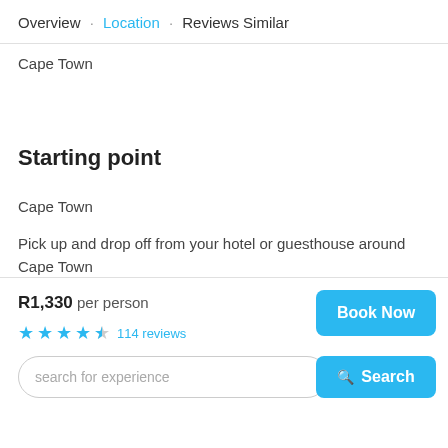Overview · Location · Reviews Similar
Cape Town
Starting point
Cape Town
Pick up and drop off from your hotel or guesthouse around Cape Town
R1,330 per person
★★★★☆ 114 reviews
search for experience
Book Now
Search